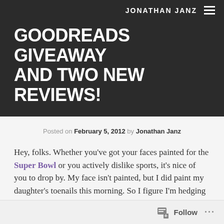JONATHAN JANZ
GOODREADS GIVEAWAY AND TWO NEW REVIEWS!
Posted on February 5, 2012 by Jonathan Janz
Hey, folks. Whether you've got your faces painted for the Super Bowl or you actively dislike sports, it's nice of you to drop by. My face isn't painted, but I did paint my daughter's toenails this morning. So I figure I'm hedging my bets.
Follow ...